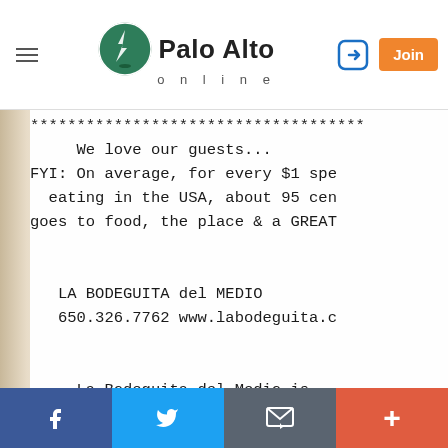Palo Alto online — navigation bar with hamburger menu, logo, login and Join button
[Figure (photo): Photograph of a restaurant receipt from La Bodeguita del Medio showing a customer appreciation message in monospace typeface on thermal paper. Text reads: '***** We love our guests... FYI: On average, for every $1 spe[nt] eating in the USA, about 95 cen[ts] goes to food, the place & a GREAT [team]   LA BODEGUITA del MEDIO 650.326.7762 www.labodeguita.c[om]   La Bodeguita del Medio is a registered trademark.']
Social share bar: Facebook, Twitter, Email, Plus